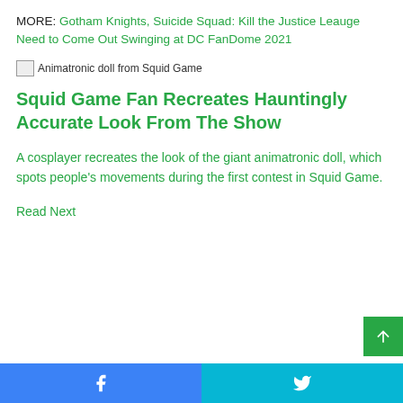MORE: Gotham Knights, Suicide Squad: Kill the Justice Leauge Need to Come Out Swinging at DC FanDome 2021
[Figure (photo): Broken image placeholder for 'Animatronic doll from Squid Game']
Squid Game Fan Recreates Hauntingly Accurate Look From The Show
A cosplayer recreates the look of the giant animatronic doll, which spots people's movements during the first contest in Squid Game.
Read Next
Facebook | Twitter